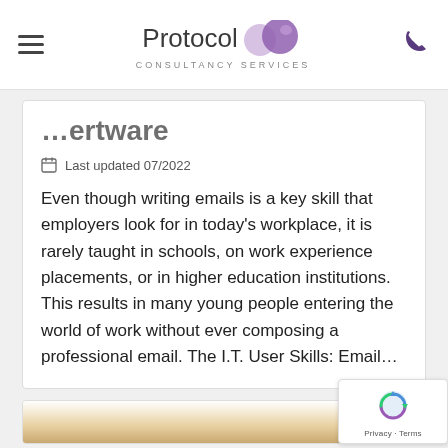Protocol Consultancy Services
…ertware
Last updated 07/2022
Even though writing emails is a key skill that employers look for in today's workplace, it is rarely taught in schools, on work experience placements, or in higher education institutions. This results in many young people entering the world of work without ever composing a professional email. The I.T. User Skills: Email...
[Figure (photo): Bottom card with partial image of stacked books/items, partially cropped at bottom of page]